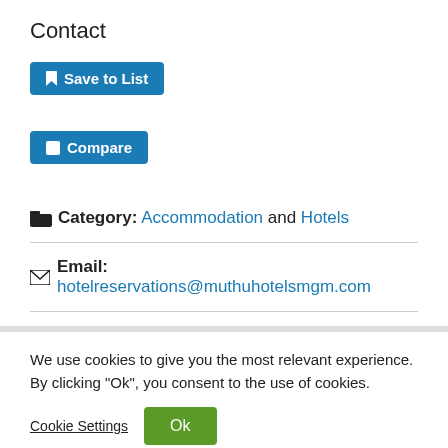Contact
[Figure (other): Save to List button (blue, with bookmark icon)]
[Figure (other): Compare button (blue, with checkbox icon)]
Category: Accommodation and Hotels
Email: hotelreservations@muthuhotelsmgm.com
We use cookies to give you the most relevant experience. By clicking "Ok", you consent to the use of cookies.
Cookie Settings
[Figure (other): Ok button (green)]